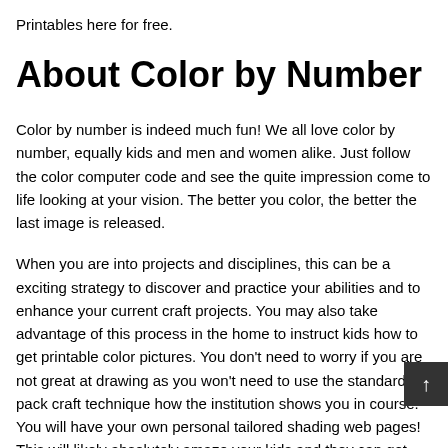Printables here for free.
About Color by Number
Color by number is indeed much fun! We all love color by number, equally kids and men and women alike. Just follow the color computer code and see the quite impression come to life looking at your vision. The better you color, the better the last image is released.
When you are into projects and disciplines, this can be a exciting strategy to discover and practice your abilities and to enhance your current craft projects. You may also take advantage of this process in the home to instruct kids how to get printable color pictures. You don't need to worry if you are not great at drawing as you won't need to use the standard pack craft technique how the institution shows you in course. You will have your own personal tailored shading web pages! This will likely absolutely amaze your kids and they can get pleasure